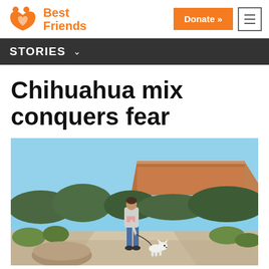Best Friends — Donate »
STORIES
Chihuahua mix conquers fear
[Figure (photo): A woman walks a small white Chihuahua on a leash along a paved path in a desert landscape. Green juniper trees and scrub brush line the path. A large flat-topped mesa or butte is visible in the background under a blue sky.]